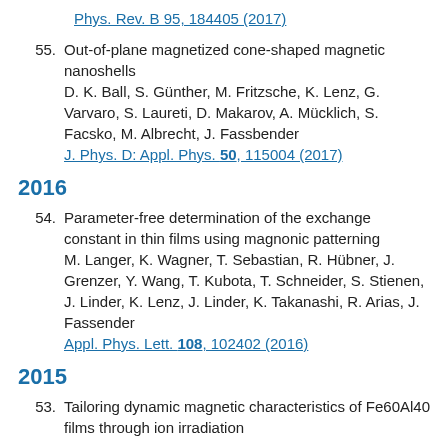Phys. Rev. B 95, 184405 (2017)
55. Out-of-plane magnetized cone-shaped magnetic nanoshells
D. K. Ball, S. Günther, M. Fritzsche, K. Lenz, G. Varvaro, S. Laureti, D. Makarov, A. Mücklich, S. Facsko, M. Albrecht, J. Fassbender
J. Phys. D: Appl. Phys. 50, 115004 (2017)
2016
54. Parameter-free determination of the exchange constant in thin films using magnonic patterning
M. Langer, K. Wagner, T. Sebastian, R. Hübner, J. Grenzer, Y. Wang, T. Kubota, T. Schneider, S. Stienen, J. Linder, K. Lenz, J. Linder, K. Takanashi, R. Arias, J. Fassender
Appl. Phys. Lett. 108, 102402 (2016)
2015
53. Tailoring dynamic magnetic characteristics of Fe60Al40 films through ion irradiation